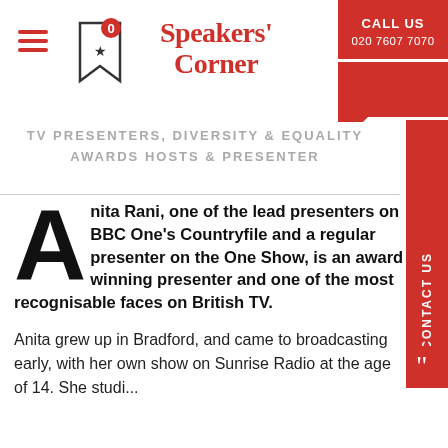[Figure (logo): Speakers' Corner logo with red serif text and apostrophe quote mark]
TV PRESENTERS, DIVERSITY & EQUALITY AWARDS HOSTS & PRESENTER
Anita Rani, one of the lead presenters on BBC One's Countryfile and a regular presenter on the One Show, is an award winning presenter and one of the most recognisable faces on British TV.
Anita grew up in Bradford, and came to broadcasting early, with her own show on Sunrise Radio at the age of 14. She studied...